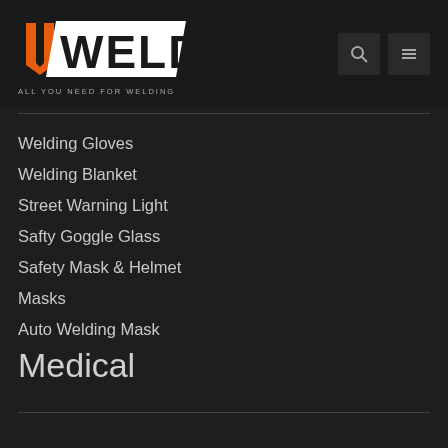[Figure (logo): UWeld logo with orange U letter and white WELD text on dark background]
ALL YOU NEED FOR WELDING
Welding Gloves
Welding Blanket
Street Warning Light
Safty Goggle Glass
Safety Mask & Helmet
Masks
Auto Welding Mask
Medical